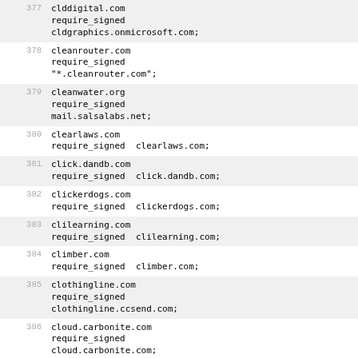| # | entry |
| --- | --- |
| 377 | clddigital.com
require_signed
cldgraphics.onmicrosoft.com; |
| 378 | cleanrouter.com
require_signed
"*.cleanrouter.com"; |
| 379 | cleanwater.org
require_signed
mail.salsalabs.net; |
| 380 | clearlaws.com
require_signed  clearlaws.com; |
| 381 | click.dandb.com
require_signed  click.dandb.com; |
| 382 | clickerdogs.com
require_signed  clickerdogs.com; |
| 383 | clilearning.com
require_signed  clilearning.com; |
| 384 | climber.com
require_signed  climber.com; |
| 385 | clothingline.com
require_signed
clothingline.ccsend.com; |
| 386 | cloud.carbonite.com
require_signed
cloud.carbonite.com; |
| 387 | clover.com
require_signed  clover.com; |
| 388 | cmail.dickblick.com
require_signed
cmail.dickblick.com; |
| 389 | cmclibrary.org |